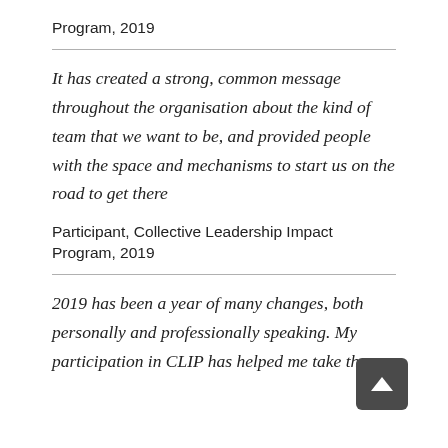Program, 2019
It has created a strong, common message throughout the organisation about the kind of team that we want to be, and provided people with the space and mechanisms to start us on the road to get there
Participant, Collective Leadership Impact Program, 2019
2019 has been a year of many changes, both personally and professionally speaking. My participation in CLIP has helped me take these